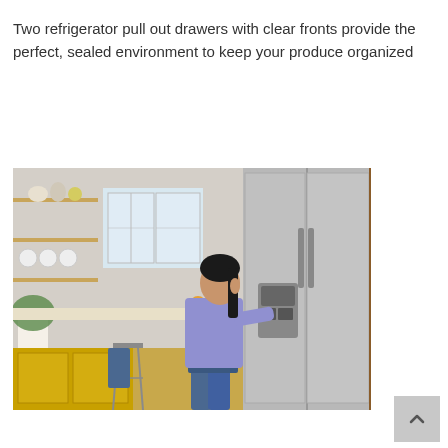Two refrigerator pull out drawers with clear fronts provide the perfect, sealed environment to keep your produce organized
[Figure (photo): A woman with long dark hair wearing a blue long-sleeve shirt and denim skirt stands in a bright kitchen with yellow cabinets, reaching into a stainless steel side-by-side refrigerator. Kitchen has open shelving with dishes and plants visible.]